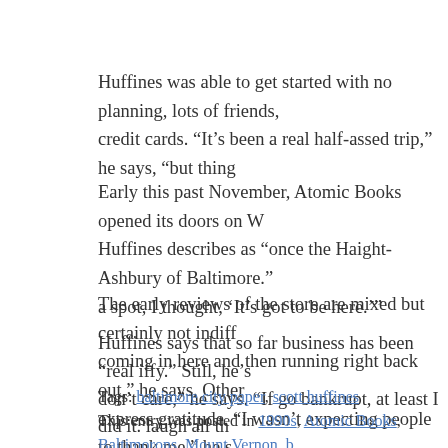Huffines was able to get started with no planning, lots of friends, credit cards. “It’s been a real half-assed trip,” he says, “but thing…”
Early this past November, Atomic Books opened its doors on W… Huffines describes as “once the Haight-Ashbury of Baltimore.” … a spot, I thought, ‘It’s got to be here.’”
The early reviews of the store are mixed but certainly not indiff… coming in here and then running right back out,” he says. Other… express gratitude. “I wasn’t expecting people to thank me,” he s…
Huffines says that so far business has been “real iffy.” Still, he’s… don’t care,” he says. “If go bankrupt, at least I did it. laugh all th…
Tags: baltimore city paper, scott huffines
This entry was posted in 1990s, Atomic Books, Baltimorons, Mount Vernon, … city paper, scott huffines. Bookmark the permalink.